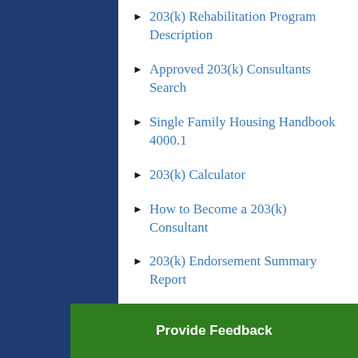203(k) Rehabilitation Program Description
Approved 203(k) Consultants Search
Single Family Housing Handbook 4000.1
203(k) Calculator
How to Become a 203(k) Consultant
203(k) Endorsement Summary Report
Contact the FHA Resource Center for more 203(k) information.
Provide Feedback